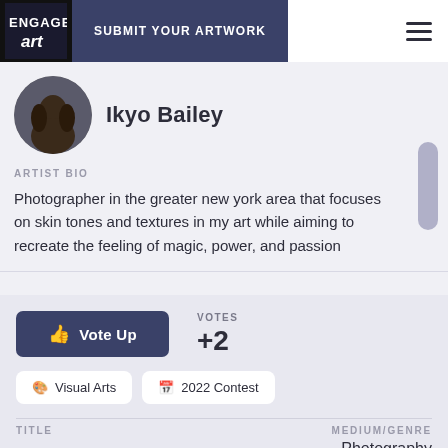SUBMIT YOUR ARTWORK
Ikyo Bailey
ARTIST BIO
Photographer in the greater new york area that focuses on skin tones and textures in my art while aiming to recreate the feeling of magic, power, and passion
Vote Up
VOTES
+2
Visual Arts
2022 Contest
TITLE
MEDIUM/GENRE
Photography